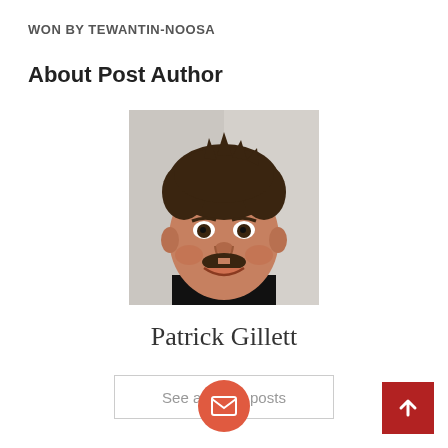WON BY TEWANTIN-NOOSA
About Post Author
[Figure (photo): Headshot photo of a middle-aged man with dark hair and a mustache, wearing a black shirt, smiling, against a grey/white brick wall background.]
Patrick Gillett
See author's posts